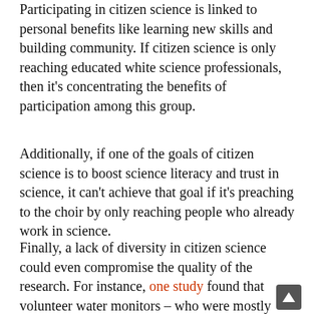Participating in citizen science is linked to personal benefits like learning new skills and building community. If citizen science is only reaching educated white science professionals, then it's concentrating the benefits of participation among this group.
Additionally, if one of the goals of citizen science is to boost science literacy and trust in science, it can't achieve that goal if it's preaching to the choir by only reaching people who already work in science.
Finally, a lack of diversity in citizen science could even compromise the quality of the research. For instance, one study found that volunteer water monitors – who were mostly well-educated and white – undersampled areas where environment concerns disproportionately affected poor